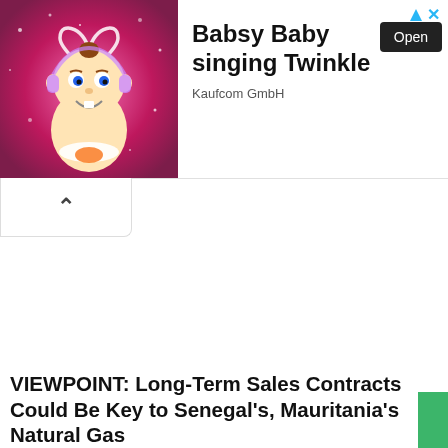[Figure (illustration): Advertisement banner: animated baby character with heart halo on pink sparkly background (Babsy Baby singing Twinkle, Kaufcom GmbH), with an Open button and ad icons.]
^
VIEWPOINT: Long-Term Sales Contracts Could Be Key to Senegal's, Mauritania's Natural Gas